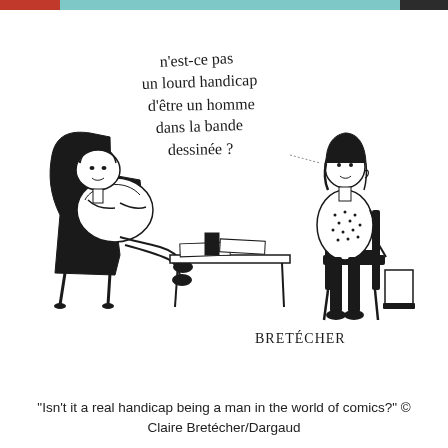[Figure (illustration): Black and white comic/cartoon illustration by Claire Bretécher. Shows two people: a heavy-set man reclining in a large black armchair on the left, and a woman sitting in a chair on the right, at a desk/table with papers. Handwritten French text in speech bubble reads: 'n'est-ce pas un lourd handicap d'être un homme dans la bande dessinée?' Signed 'BRETÉCHER' at bottom right of illustration.]
"Isn't it a real handicap being a man in the world of comics?" © Claire Bretécher/Dargaud